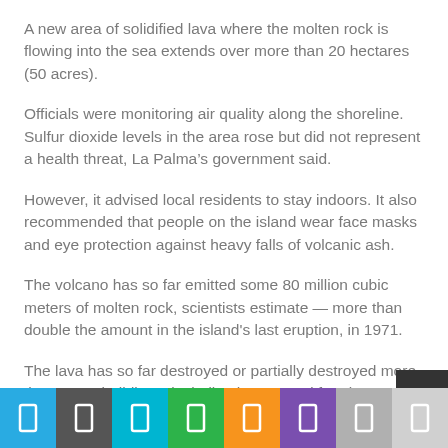A new area of solidified lava where the molten rock is flowing into the sea extends over more than 20 hectares (50 acres).
Officials were monitoring air quality along the shoreline. Sulfur dioxide levels in the area rose but did not represent a health threat, La Palma’s government said.
However, it advised local residents to stay indoors. It also recommended that people on the island wear face masks and eye protection against heavy falls of volcanic ash.
The volcano has so far emitted some 80 million cubic meters of molten rock, scientists estimate — more than double the amount in the island's last eruption, in 1971.
The lava has so far destroyed or partially destroyed more than 1,000 buildings, including homes and farming infrastructure, and entombed around 709 hectares (1,750 acres).
[social sharing toolbar]